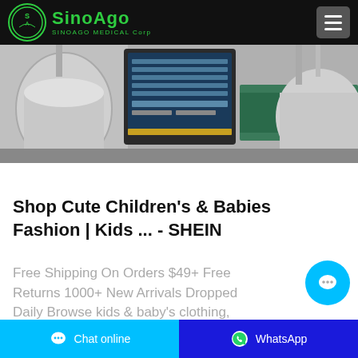SinoAgo Medical Corp
[Figure (photo): Industrial/manufacturing equipment showing stainless steel tanks and a control screen with data]
Shop Cute Children's & Babies Fashion | Kids ... - SHEIN
Free Shipping On Orders $49+ Free Returns 1000+ New Arrivals Dropped Daily Browse kids & baby's clothing, dresses, tops, sets, shoes,
Chat online | WhatsApp